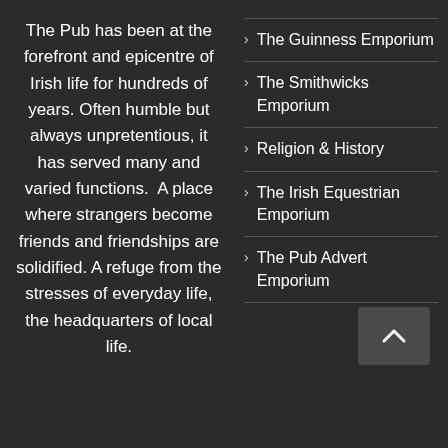The Pub has been at the forefront and epicentre of Irish life for hundreds of years. Often humble but always unpretentious, it has served many and varied functions.  A place where strangers become friends and friendships are solidified. A refuge from the stresses of everyday life, the headquarters of local life.
The Guinness Emporium
The Smithwicks Emporium
Religion & History
The Irish Equestrian Emporium
The Pub Advert Emporium